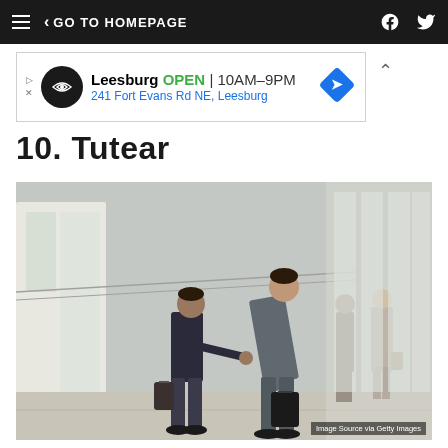GO TO HOMEPAGE
[Figure (infographic): Advertisement banner: Leesburg OPEN 10AM-9PM, 241 Fort Evans Rd NE, Leesburg]
10. Tutear
[Figure (photo): Two businessmen bowing and shaking hands in a modern office corridor, with two women walking in the background. Caption: Image Source via Getty Images]